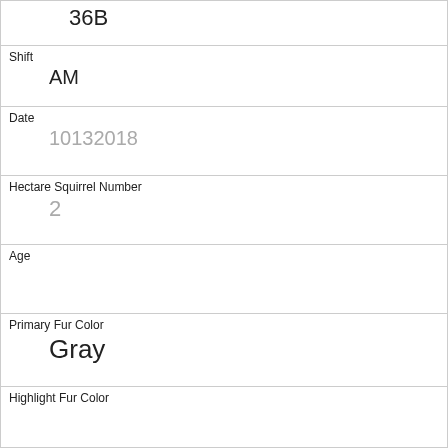| 36B |
| Shift | AM |
| Date | 10132018 |
| Hectare Squirrel Number | 2 |
| Age |  |
| Primary Fur Color | Gray |
| Highlight Fur Color |  |
| Combination of Primary and Highlight Color | Gray+ |
| Color notes |  |
| Location | Ground Plane |
| Above Ground Sighter Measurement |  |